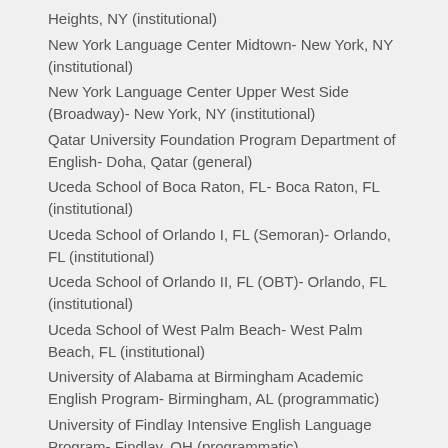Heights, NY (institutional)
New York Language Center Midtown- New York, NY (institutional)
New York Language Center Upper West Side (Broadway)- New York, NY (institutional)
Qatar University Foundation Program Department of English- Doha, Qatar (general)
Uceda School of Boca Raton, FL- Boca Raton, FL (institutional)
Uceda School of Orlando I, FL (Semoran)- Orlando, FL (institutional)
Uceda School of Orlando II, FL (OBT)- Orlando, FL (institutional)
Uceda School of West Palm Beach- West Palm Beach, FL (institutional)
University of Alabama at Birmingham Academic English Program- Birmingham, AL (programmatic)
University of Findlay Intensive English Language Program- Findlay, OH (programmatic)